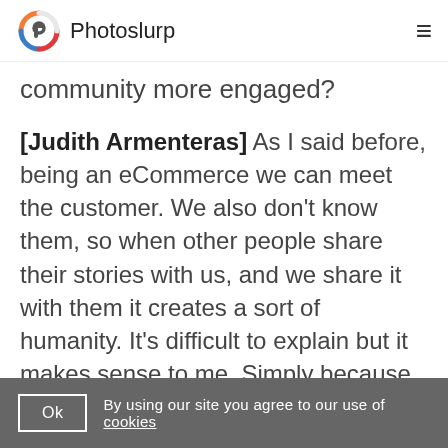Photoslurp
community more engaged?
[Judith Armenteras] As I said before, being an eCommerce we can meet the customer. We also don't know them, so when other people share their stories with us, and we share it with them it creates a sort of humanity. It's difficult to explain but it makes sense to me. Simply because you read other people's experiences or you see other people are
By using our site you agree to our use of cookies